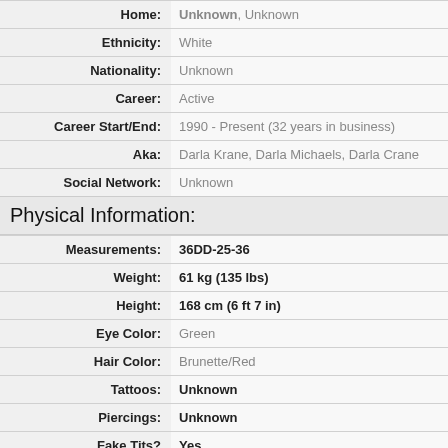| Home: | Unknown, Unknown |
| Ethnicity: | White |
| Nationality: | Unknown |
| Career: | Active |
| Career Start/End: | 1990 - Present (32 years in business) |
| Aka: | Darla Krane, Darla Michaels, Darla Crane |
| Social Network: | Unknown |
Physical Information:
| Measurements: | 36DD-25-36 |
| Weight: | 61 kg (135 lbs) |
| Height: | 168 cm (6 ft 7 in) |
| Eye Color: | Green |
| Hair Color: | Brunette/Red |
| Tattoos: | Unknown |
| Piercings: | Unknown |
| Fake Tits? | Yes |
About
Often dubbed "The Bettie Page of the '90s" for her iconic work as a soft-core bondage model, Darla Crane has been making trousers tight and panties wet for — on the street level —